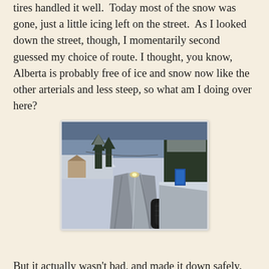tires handled it well.  Today most of the snow was gone, just a little icing left on the street.  As I looked down the street, though, I momentarily second guessed my choice of route. I thought, you know, Alberta is probably free of ice and snow now like the other arterials and less steep, so what am I doing over here?
[Figure (photo): A photo taken from a bicycle on a snowy/icy road lined with snow-covered trees. A bicycle handlebar-mounted device with a blue light is visible in the lower right foreground. The road stretches ahead with headlights of an approaching car visible in the distance.]
But it actually wasn't bad, and made it down safely.
This is a real crappy cell phone pic from starting out.  Next time